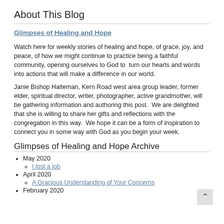About This Blog
Glimpses of Healing and Hope
Watch here for weekly stories of healing and hope, of grace, joy, and peace, of how we might continue to practice being a faithful community, opening ourselves to God to turn our hearts and words into actions that will make a difference in our world.
Janie Bishop Halteman, Kern Road west area group leader, former elder, spiritual director, writer, photographer, active grandmother, will be gathering information and authoring this post. We are delighted that she is willing to share her gifts and reflections with the congregation in this way. We hope it can be a form of inspiration to connect you in some way with God as you begin your week.
Glimpses of Healing and Hope Archive
May 2020
I lost a job
April 2020
A Gracious Understanding of Your Concerns
February 2020